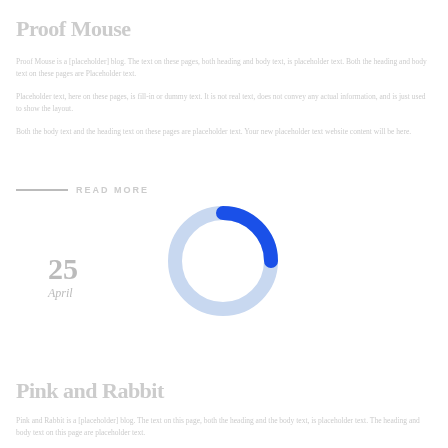Proof Mouse
Proof Mouse is a [placeholder] blog. The text on these pages, both heading and body text, is placeholder text. Both the heading and body text on these pages are Placeholder text.
READ MORE
[Figure (other): Loading spinner / donut progress indicator with bright blue arc on top and light blue/grey arc on the bottom, forming a circle with a white center]
25
April
Pink and Rabbit
Pink and Rabbit is a [placeholder] blog. The text on this page, both the heading and the body text, is placeholder text. The heading and body text on this page are placeholder text.